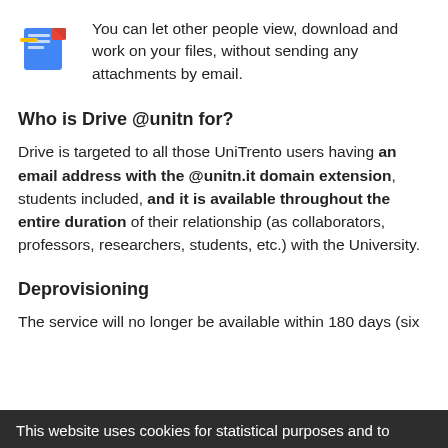[Figure (logo): Google Drive icon - blue document with yellow and red triangle accent]
You can let other people view, download and work on your files, without sending any attachments by email.
Who is Drive @unitn for?
Drive is targeted to all those UniTrento users having an email address with the @unitn.it domain extension, students included, and it is available throughout the entire duration of their relationship (as collaborators, professors, researchers, students, etc.) with the University.
Deprovisioning
The service will no longer be available within 180 days (six
This website uses cookies for statistical purposes and to